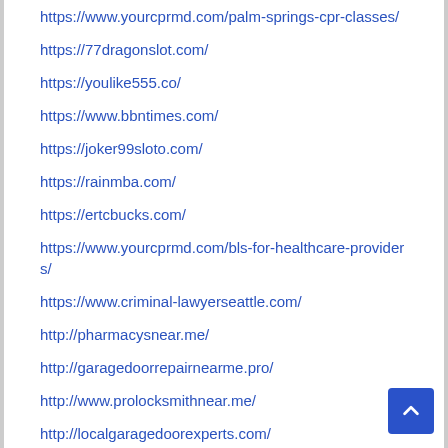https://www.yourcprmd.com/palm-springs-cpr-classes/
https://77dragonslot.com/
https://youlike555.co/
https://www.bbntimes.com/
https://joker99sloto.com/
https://rainmba.com/
https://ertcbucks.com/
https://www.yourcprmd.com/bls-for-healthcare-providers/
https://www.criminal-lawyerseattle.com/
http://pharmacysnear.me/
http://garagedoorrepairnearme.pro/
http://www.prolocksmithnear.me/
http://localgaragedoorexperts.com/
https://www.ailog.com/